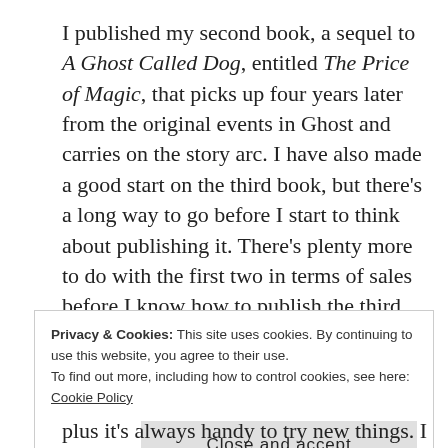I published my second book, a sequel to A Ghost Called Dog, entitled The Price of Magic, that picks up four years later from the original events in Ghost and carries on the story arc. I have also made a good start on the third book, but there's a long way to go before I start to think about publishing it. There's plenty more to do with the first two in terms of sales before I know how to publish the third, but I'm thinking about it. Right now I'm making lists and jotting down ideas, but you'll be hearing from me.
Privacy & Cookies: This site uses cookies. By continuing to use this website, you agree to their use. To find out more, including how to control cookies, see here: Cookie Policy
Close and accept
plus it's always handy to try new things. I managed